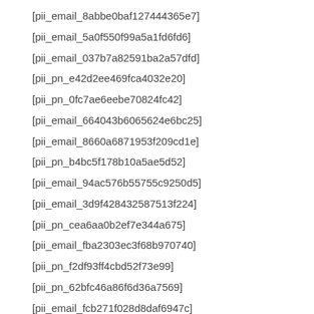[pii_email_8abbe0baf127444365e7]
[pii_email_5a0f550f99a5a1fd6fd6]
[pii_email_037b7a82591ba2a57dfd]
[pii_pn_e42d2ee469fca4032e20]
[pii_pn_0fc7ae6eebe70824fc42]
[pii_email_664043b6065624e6bc25]
[pii_email_8660a6871953f209cd1e]
[pii_pn_b4bc5f178b10a5ae5d52]
[pii_email_94ac576b55755c9250d5]
[pii_email_3d9f428432587513f224]
[pii_pn_cea6aa0b2ef7e344a675]
[pii_email_fba2303ec3f68b970740]
[pii_pn_f2df93ff4cbd52f73e99]
[pii_pn_62bfc46a86f6d36a7569]
[pii_email_fcb271f028d8daf6947c]
[pii_email_ed38e0cd74d4952df40e]
[pii_pn_95d0baee7eafddd47ff6]
[pii_pn_8bc70284a4884861a8b4]